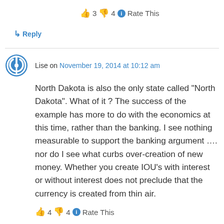👍 3 👎 4 ℹ Rate This
↳ Reply
Lise on November 19, 2014 at 10:12 am
North Dakota is also the only state called "North Dakota". What of it ? The success of the example has more to do with the economics at this time, rather than the banking. I see nothing measurable to support the banking argument …. nor do I see what curbs over-creation of new money. Whether you create IOU's with interest or without interest does not preclude that the currency is created from thin air.
👍 4 👎 4 ℹ Rate This